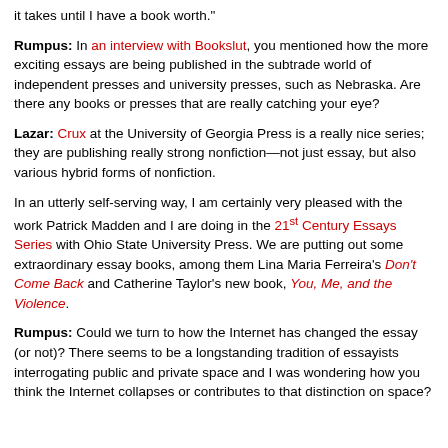it takes until I have a book worth."
Rumpus: In an interview with Bookslut, you mentioned how the more exciting essays are being published in the subtrade world of independent presses and university presses, such as Nebraska. Are there any books or presses that are really catching your eye?
Lazar: Crux at the University of Georgia Press is a really nice series; they are publishing really strong nonfiction—not just essay, but also various hybrid forms of nonfiction.
In an utterly self-serving way, I am certainly very pleased with the work Patrick Madden and I are doing in the 21st Century Essays Series with Ohio State University Press. We are putting out some extraordinary essay books, among them Lina Maria Ferreira's Don't Come Back and Catherine Taylor's new book, You, Me, and the Violence.
Rumpus: Could we turn to how the Internet has changed the essay (or not)? There seems to be a longstanding tradition of essayists interrogating public and private space and I was wondering how you think the Internet collapses or contributes to that distinction on space?